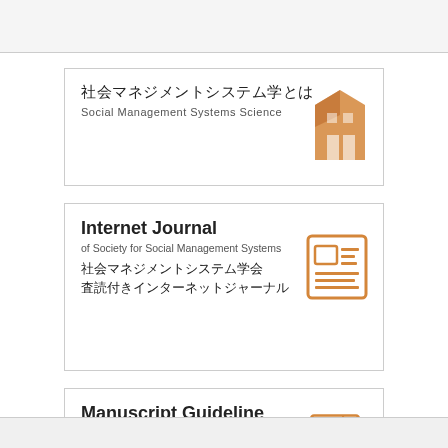[Figure (logo): Card 1: 社会マネジメントシステム学とは / Social Management Systems Science with orange building icon]
[Figure (logo): Card 2: Internet Journal of Society for Social Management Systems with orange journal icon, and Japanese text 社会マネジメントシステム学会 査読付きインターネットジャーナル]
[Figure (logo): Card 3: Manuscript Guideline for authors with orange document/printer icon]